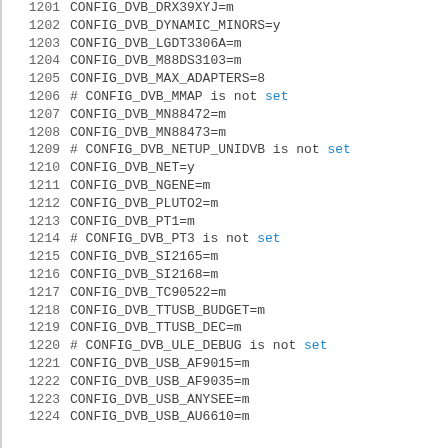1201 CONFIG_DVB_DRX39XYJ=m
1202 CONFIG_DVB_DYNAMIC_MINORS=y
1203 CONFIG_DVB_LGDT3306A=m
1204 CONFIG_DVB_M88DS3103=m
1205 CONFIG_DVB_MAX_ADAPTERS=8
1206 # CONFIG_DVB_MMAP is not set
1207 CONFIG_DVB_MN88472=m
1208 CONFIG_DVB_MN88473=m
1209 # CONFIG_DVB_NETUP_UNIDVB is not set
1210 CONFIG_DVB_NET=y
1211 CONFIG_DVB_NGENE=m
1212 CONFIG_DVB_PLUTO2=m
1213 CONFIG_DVB_PT1=m
1214 # CONFIG_DVB_PT3 is not set
1215 CONFIG_DVB_SI2165=m
1216 CONFIG_DVB_SI2168=m
1217 CONFIG_DVB_TC90522=m
1218 CONFIG_DVB_TTUSB_BUDGET=m
1219 CONFIG_DVB_TTUSB_DEC=m
1220 # CONFIG_DVB_ULE_DEBUG is not set
1221 CONFIG_DVB_USB_AF9015=m
1222 CONFIG_DVB_USB_AF9035=m
1223 CONFIG_DVB_USB_ANYSEE=m
1224 CONFIG_DVB_USB_AU6610=m